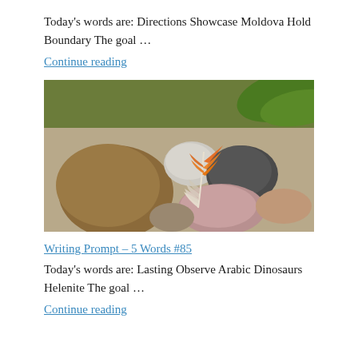Today's words are: Directions Showcase Moldova Hold Boundary The goal …
Continue reading
[Figure (photo): Photograph of smooth river rocks and stones arranged on a textured surface, with an orange and white feather placed among them, and green leaves visible in the background.]
Writing Prompt – 5 Words #85
Today's words are: Lasting Observe Arabic Dinosaurs Helenite The goal …
Continue reading